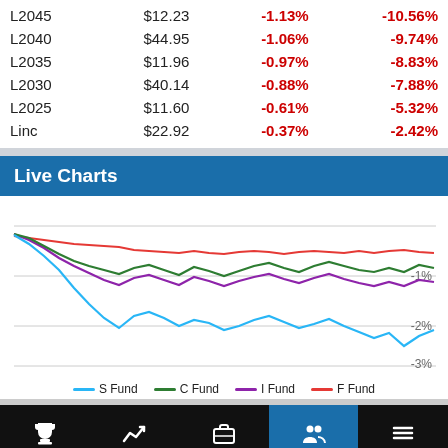| Fund | Price | 1-Day | YTD |
| --- | --- | --- | --- |
| L2045 | $12.23 | -1.13% | -10.56% |
| L2040 | $44.95 | -1.06% | -9.74% |
| L2035 | $11.96 | -0.97% | -8.83% |
| L2030 | $40.14 | -0.88% | -7.88% |
| L2025 | $11.60 | -0.61% | -5.32% |
| Linc | $22.92 | -0.37% | -2.42% |
Live Charts
[Figure (line-chart): Live Charts]
— S Fund   — C Fund   — I Fund   — F Fund